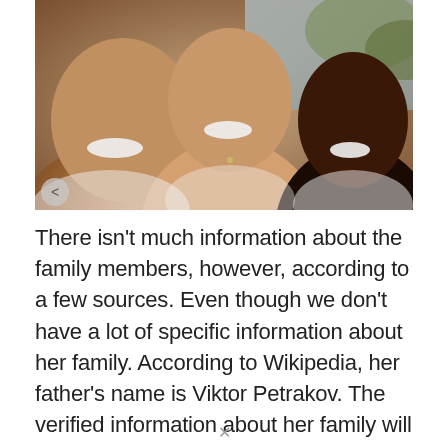[Figure (photo): A selfie photo of three people smiling closely together outdoors. Two adults and one child, appearing to be at a beach or outdoor setting.]
There isn't much information about the family members, however, according to a few sources. Even though we don't have a lot of specific information about her family. According to Wikipedia, her father's name is Viktor Petrakov. The verified information about her family will be updated later.